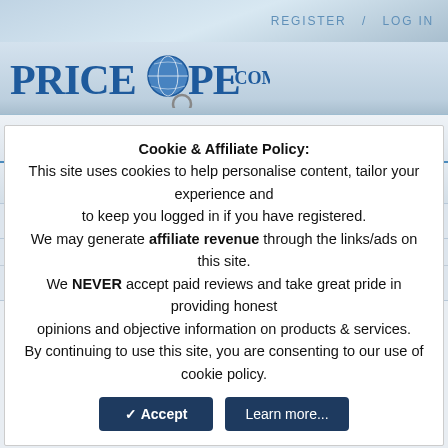REGISTER / LOG IN
[Figure (logo): PriceScope.com logo with globe and magnifying glass]
REGISTER / LOG IN   DIAMOND SEARCH   FORUM
EDUCATION   Find your diamond   RESOURCES
SEARCH
< RockyTalky (Diamond Discussion)
ben bridge signature diamonds
Cookie & Affiliate Policy:
This site uses cookies to help personalise content, tailor your experience and to keep you logged in if you have registered.
We may generate affiliate revenue through the links/ads on this site.
We NEVER accept paid reviews and take great pride in providing honest opinions and objective information on products & services.
By continuing to use this site, you are consenting to our use of cookie policy.